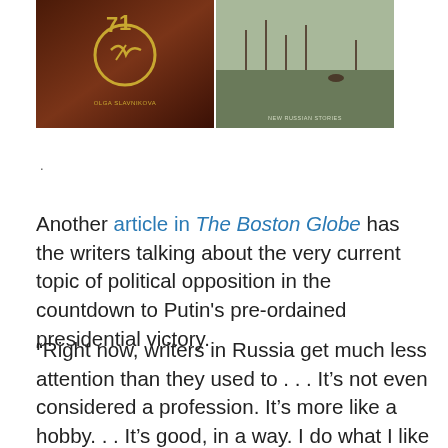[Figure (photo): Two book covers side by side: left image is a dark reddish-brown Soviet-themed cover, right image is a landscape/nature scene with muted green-grey tones.]
.
Another article in The Boston Globe has the writers talking about the very current topic of political opposition in the countdown to Putin's pre-ordained presidential victory.
“Right now, writers in Russia get much less attention than they used to . . . It’s not even considered a profession. It’s more like a hobby. . . It’s good, in a way. I do what I like without added pressure from society or the government,” said Igor Savelyev, whose novella Off the Beaten Tracks: Stories by Russian Hitchhikers has, the article says, “became a cult sensation.”